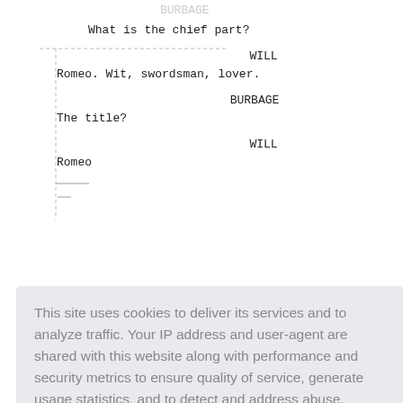What is the chief part?
WILL
Romeo. Wit, swordsman, lover.
BURBAGE
The title?
WILL
Romeo
This site uses cookies to deliver its services and to analyze traffic. Your IP address and user-agent are shared with this website along with performance and security metrics to ensure quality of service, generate usage statistics, and to detect and address abuse.
Learn more
Got it!
I swear it. He wants Romeo for ...ned and the Admiral's Men.